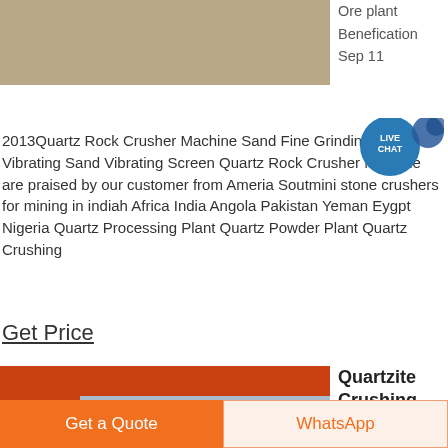[Figure (photo): Industrial mining site with sandy ground and heavy equipment in background]
Ore plant
Benefication
Sep 11
2013Quartz Rock Crusher Machine Sand Fine Grinding Mill Vibrating Sand Vibrating Screen Quartz Rock Crusher Machine are praised by our customer from Ameria Soutmini stone crushers for mining in indiah Africa India Angola Pakistan Yeman Eygpt Nigeria Quartz Processing Plant Quartz Powder Plant Quartz Crushing
Get Price
[Figure (photo): Orange and black industrial cone crusher machine on a mining plant platform]
Quartzite Crushing Lmzg Coneriedel zeller
Quartzite
Crushing Lmzg
Get a Quote
WhatsApp